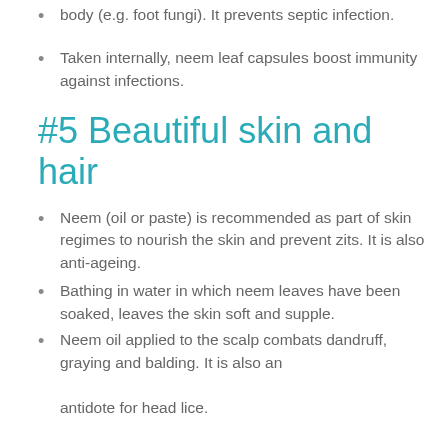body (e.g. foot fungi). It prevents septic infection.
Taken internally, neem leaf capsules boost immunity against infections.
#5 Beautiful skin and hair
Neem (oil or paste) is recommended as part of skin regimes to nourish the skin and prevent zits. It is also anti-ageing.
Bathing in water in which neem leaves have been soaked, leaves the skin soft and supple.
Neem oil applied to the scalp combats dandruff, graying and balding. It is also an antidote for head lice.